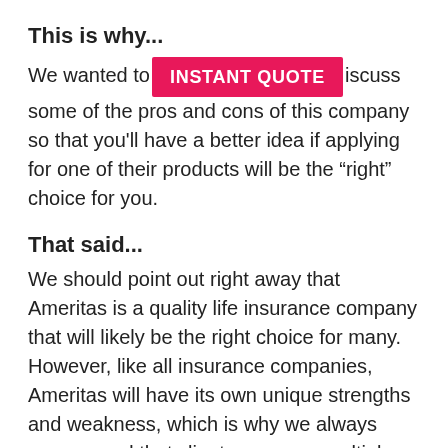This is why...
We wanted to [INSTANT QUOTE button] iscuss some of the pros and cons of this company so that you'll have a better idea if applying for one of their products will be the “right” choice for you.
That said...
We should point out right away that Ameritas is a quality life insurance company that will likely be the right choice for many.  However, like all insurance companies, Ameritas will have its own unique strengths and weakness, which is why we always recommend that clients compare multiple insurance companies before applying for coverage.